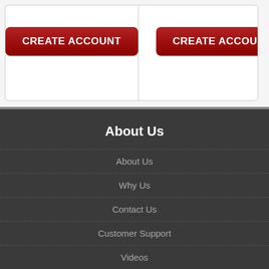[Figure (screenshot): Top section showing two CREATE ACCOUNT buttons on a light gray background inside a white card with rounded corners and a gray border]
About Us
About Us
Why Us
Contact Us
Customer Support
Videos
Terms and Conditions